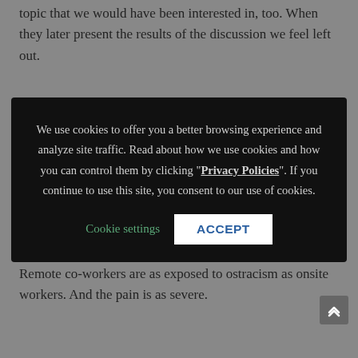topic that we would have been interested in, too. When they later present the results of the discussion we feel left out.
We use cookies to offer you a better browsing experience and analyze site traffic. Read about how we use cookies and how you can control them by clicking "Privacy Policies". If you continue to use this site, you consent to our use of cookies. Cookie settings ACCEPT
Remote co-workers are as exposed to ostracism as onsite workers. And the pain is as severe.